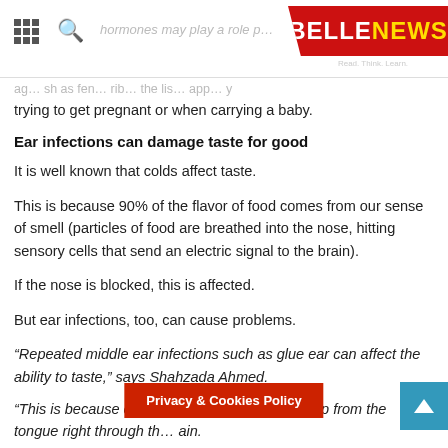BELLENEWS — Read. Think. Learn.
trying to get pregnant or when carrying a baby.
Ear infections can damage taste for good
It is well known that colds affect taste.
This is because 90% of the flavor of food comes from our sense of smell (particles of food are breathed into the nose, hitting sensory cells that send an electric signal to the brain).
If the nose is blocked, this is affected.
But ear infections, too, can cause problems.
“Repeated middle ear infections such as glue ear can affect the ability to taste,” says Shahzada Ahmed.
“This is because ear infections c… which runs up from the tongue right through th… ain.